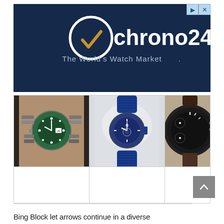[Figure (logo): Chrono24 advertisement banner with dark navy background showing the Chrono24 logo (clock icon with orange checkmark, white text 'chrono24', subtext 'The World's Watch Market') and three watch images below: a green-dialed Rolex Submariner, a blue Omega Seamaster, and a dark chronograph watch, partially cropped]
Bing Block let arrows continue in a diverse